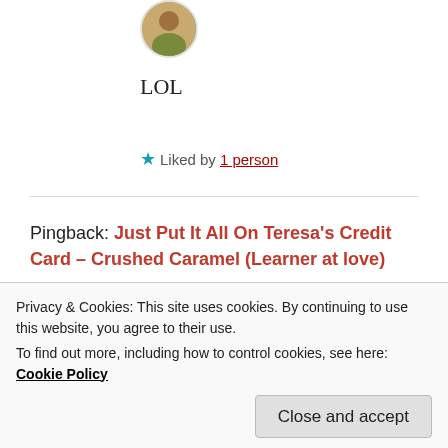[Figure (photo): Circular avatar image of a person, partially visible at top]
LOL
★ Liked by 1 person
Pingback: Just Put It All On Teresa's Credit Card – Crushed Caramel (Learner at love)
[Figure (photo): Circular avatar photo of Eilene Lyon]
Eilene Lyon
Privacy & Cookies: This site uses cookies. By continuing to use this website, you agree to their use.
To find out more, including how to control cookies, see here: Cookie Policy